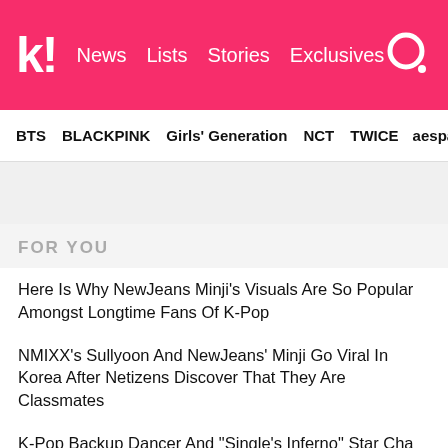k! News Lists Stories Exclusives [search]
BTS   BLACKPINK   Girls' Generation   NCT   TWICE   aespa
FOR YOU
Here Is Why NewJeans Minji's Visuals Are So Popular Amongst Longtime Fans Of K-Pop
NMIXX's Sullyoon And NewJeans' Minji Go Viral In Korea After Netizens Discover That They Are Classmates
K-Pop Backup Dancer And "Single's Inferno" Star Cha Hyun Seung Gets Mistaken For Jay Park
Lee Kwang Soo Being Listed As The Next Guest On "Running Man" Has Fans Buzzing
Another Supposed Picture Of BLACKPINK's Jennie And